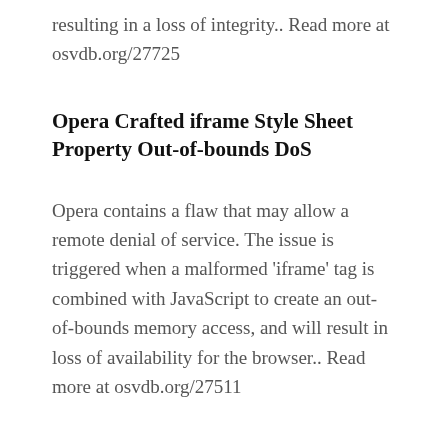resulting in a loss of integrity.. Read more at osvdb.org/27725
Opera Crafted iframe Style Sheet Property Out-of-bounds DoS
Opera contains a flaw that may allow a remote denial of service. The issue is triggered when a malformed 'iframe' tag is combined with JavaScript to create an out-of-bounds memory access, and will result in loss of availability for the browser.. Read more at osvdb.org/27511